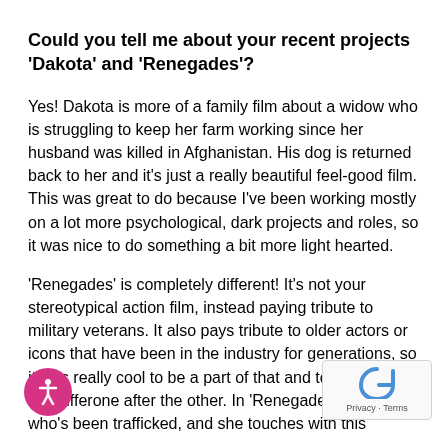Could you tell me about your recent projects 'Dakota' and 'Renegades'?
Yes! Dakota is more of a family film about a widow who is struggling to keep her farm working since her husband was killed in Afghanistan. His dog is returned back to her and it's just a really beautiful feel-good film. This was great to do because I've been working mostly on a lot more psychological, dark projects and roles, so it was nice to do something a bit more light hearted.
'Renegades' is completely different! It's not your stereotypical action film, instead paying tribute to military veterans. It also pays tribute to older actors or icons that have been in the industry for generations, so it was really cool to be a part of that and to play those two different one after the other. In 'Renegades' I play a g who's been trafficked, and she touches with this